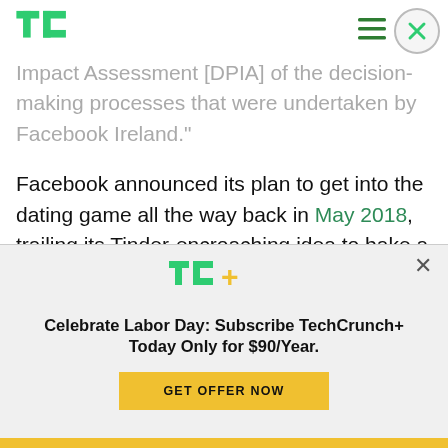TechCrunch
Impact Assessment [DPIA] of the decision-making processes that were undertaken by Facebook Ireland."
Facebook announced its plan to get into the dating game all the way back in May 2018, trailing its Tinder-encroaching idea to bake a dating feature for non-friends into its social network at its F8
[Figure (logo): TechCrunch TC+ logo]
Celebrate Labor Day: Subscribe TechCrunch+ Today Only for $90/Year.
GET OFFER NOW